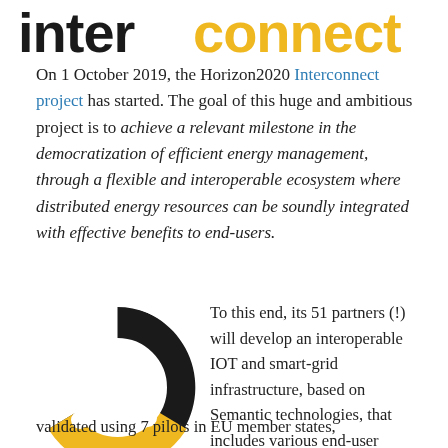[Figure (logo): Interconnect logo — 'inter' in black bold and 'connect' in yellow/gold bold, large text]
On 1 October 2019, the Horizon2020 Interconnect project has started. The goal of this huge and ambitious project is to achieve a relevant milestone in the democratization of efficient energy management, through a flexible and interoperable ecosystem where distributed energy resources can be soundly integrated with effective benefits to end-users.
[Figure (illustration): Donut/ring shape split into puzzle-piece segments, top portion black and bottom portion yellow/gold]
To this end, its 51 partners (!) will develop an interoperable IOT and smart-grid infrastructure, based on Semantic technologies, that includes various end-user services. The results will be validated using 7 pilots in EU member states,